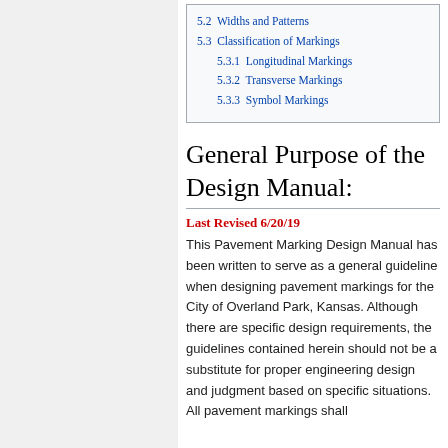5.2 Widths and Patterns
5.3 Classification of Markings
5.3.1 Longitudinal Markings
5.3.2 Transverse Markings
5.3.3 Symbol Markings
General Purpose of the Design Manual:
Last Revised 6/20/19
This Pavement Marking Design Manual has been written to serve as a general guideline when designing pavement markings for the City of Overland Park, Kansas. Although there are specific design requirements, the guidelines contained herein should not be a substitute for proper engineering design and judgment based on specific situations. All pavement markings shall